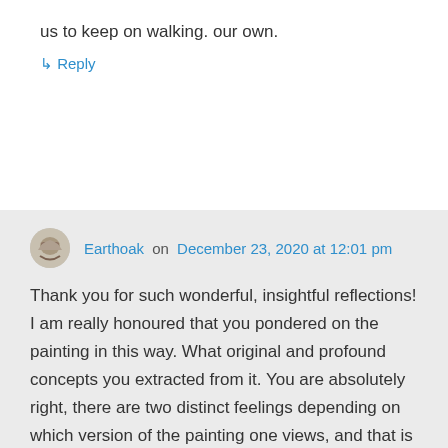us to keep on walking. our own.
↳ Reply
Earthoak on December 23, 2020 at 12:01 pm
Thank you for such wonderful, insightful reflections! I am really honoured that you pondered on the painting in this way. What original and profound concepts you extracted from it. You are absolutely right, there are two distinct feelings depending on which version of the painting one views, and that is something I did not consider when I did the 'cropping', but perhaps it subconsciously was there. The solitude (of